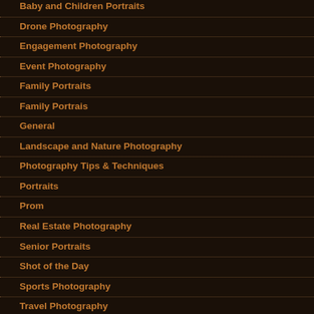Baby and Children Portraits
Drone Photography
Engagement Photography
Event Photography
Family Portraits
Family Portrais
General
Landscape and Nature Photography
Photography Tips & Techniques
Portraits
Prom
Real Estate Photography
Senior Portraits
Shot of the Day
Sports Photography
Travel Photography
Uncategorized
Underwater
Wedding Photography